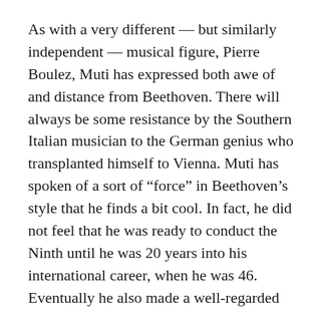As with a very different — but similarly independent — musical figure, Pierre Boulez, Muti has expressed both awe of and distance from Beethoven. There will always be some resistance by the Southern Italian musician to the German genius who transplanted himself to Vienna. Muti has spoken of a sort of “force” in Beethoven’s style that he finds a bit cool. In fact, he did not feel that he was ready to conduct the Ninth until he was 20 years into his international career, when he was 46. Eventually he also made a well-regarded recording of the work during his tenure as music director of the Philadelphia Orchestra.
On Thursday, Muti’s emphases initially were on the beginnings. Astring sound that told us that even though dramatic changes were three movements away, we were